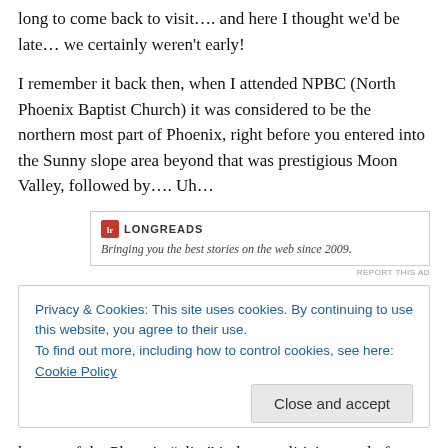long to come back to visit…. and here I thought we'd be late… we certainly weren't early!
I remember it back then, when I attended NPBC (North Phoenix Baptist Church) it was considered to be the northern most part of Phoenix, right before you entered into the Sunny slope area beyond that was prestigious Moon Valley, followed by…. Uh…
[Figure (other): Longreads advertisement banner: logo with red icon and 'LONGREADS' text, tagline 'Bringing you the best stories on the web since 2009.']
REPORT THIS AD
Privacy & Cookies: This site uses cookies. By continuing to use this website, you agree to their use.
To find out more, including how to control cookies, see here: Cookie Policy
homes of the Phoenix “elite” judges, politicians and of